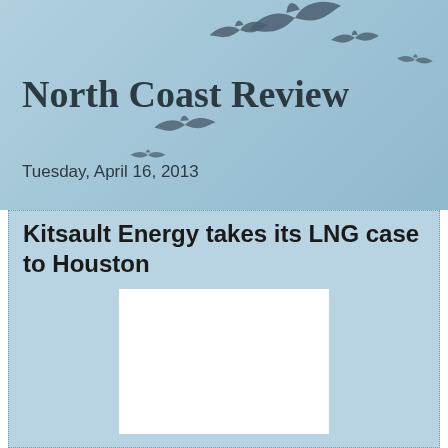North Coast Review
Tuesday, April 16, 2013
Kitsault Energy takes its LNG case to Houston
[Figure (photo): White blank image placeholder]
The proponents of the Kitsault Energy LNG project are in Houston, Texas this week, eager it seems to spread the word of the potential of their proposed development to the large gathering that is attending an major LNG conference.